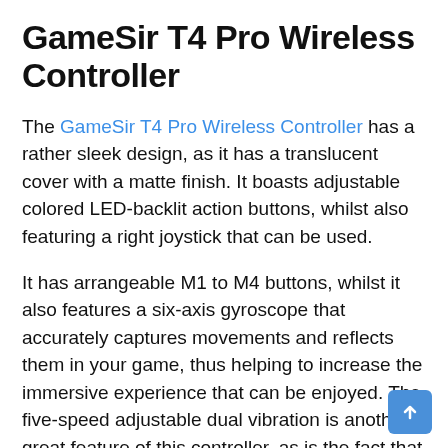GameSir T4 Pro Wireless Controller
The GameSir T4 Pro Wireless Controller has a rather sleek design, as it has a translucent cover with a matte finish. It boasts adjustable colored LED-backlit action buttons, whilst also featuring a right joystick that can be used.
It has arrangeable M1 to M4 buttons, whilst it also features a six-axis gyroscope that accurately captures movements and reflects them in your game, thus helping to increase the immersive experience that can be enjoyed. The five-speed adjustable dual vibration is another great feature of this controller, as is the fact that it has a 600mAh rechargeable USB-C battery, which is thought to